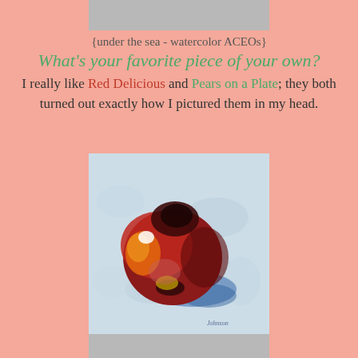[Figure (photo): Partial top edge of an image, gray/silver colored strip at the top of the page]
{under the sea - watercolor ACEOs}
What's your favorite piece of your own?
I really like Red Delicious and Pears on a Plate; they both turned out exactly how I pictured them in my head.
[Figure (photo): Oil painting of a Red Delicious apple viewed from above, with rich red, maroon, and yellow tones, set against a light blue-gray brushy background with a blue shadow. Artist signature 'Johnson' visible in lower right corner.]
[Figure (photo): Partial bottom edge of another image, gray/silver colored strip at the bottom of the page]